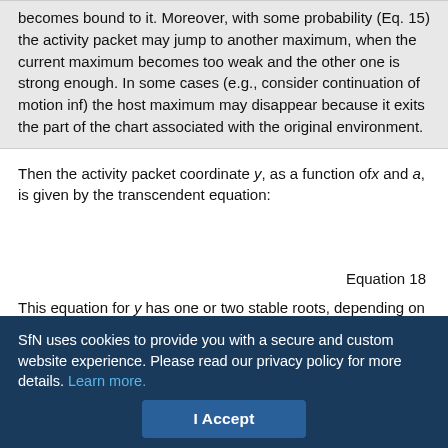becomes bound to it. Moreover, with some probability (Eq. 15) the activity packet may jump to another maximum, when the current maximum becomes too weak and the other one is strong enough. In some cases (e.g., consider continuation of motion inf) the host maximum may disappear because it exits the part of the chart associated with the original environment.
Then the activity packet coordinate y, as a function of x and a, is given by the transcendent equation:
This equation for y has one or two stable roots, depending on the values of x and a. Figure 7 shows the activity packet coordinate y as a function of x, when x changes monotonically from −l/2 to l/2 and back from l/2 to −l/2, for different values of a. Transition to another
SfN uses cookies to provide you with a secure and custom website experience. Please read our privacy policy for more details. Learn more.